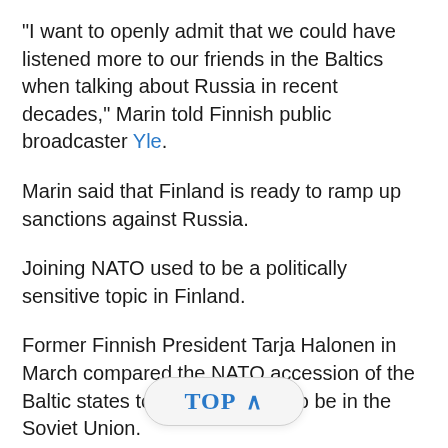"I want to openly admit that we could have listened more to our friends in the Baltics when talking about Russia in recent decades," Marin told Finnish public broadcaster Yle.
Marin said that Finland is ready to ramp up sanctions against Russia.
Joining NATO used to be a politically sensitive topic in Finland.
Former Finnish President Tarja Halonen in March compared the NATO accession of the Baltic states to how they used to be in the Soviet Union.
"They were accustomed to being part to a collective security system during Soviet... d Yle in an interview, commenting on the Baltics joining